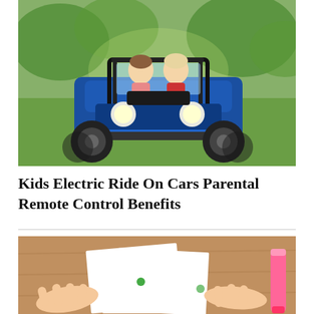[Figure (photo): Two children riding in a blue electric ride-on UTV/buggy toy car on green grass outdoors. One child in pink shirt, one in red shirt. The vehicle is a large blue off-road style toy with big tires and headlights.]
Kids Electric Ride On Cars Parental Remote Control Benefits
[Figure (photo): Hands on a wooden surface looking at papers/documents with a pink highlighter marker visible on the right side.]